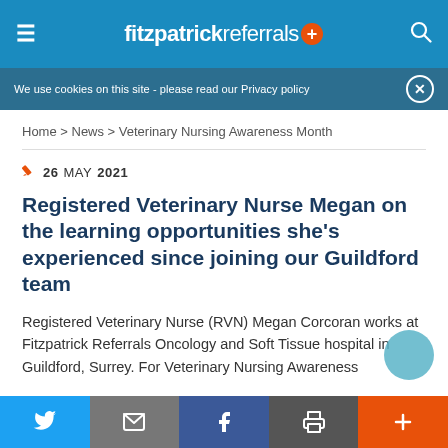fitzpatrick referrals
We use cookies on this site - please read our Privacy policy
Home > News > Veterinary Nursing Awareness Month
26 MAY 2021
Registered Veterinary Nurse Megan on the learning opportunities she's experienced since joining our Guildford team
Registered Veterinary Nurse (RVN) Megan Corcoran works at Fitzpatrick Referrals Oncology and Soft Tissue hospital in Guildford, Surrey. For Veterinary Nursing Awareness
Twitter | Email | Facebook | Print | More